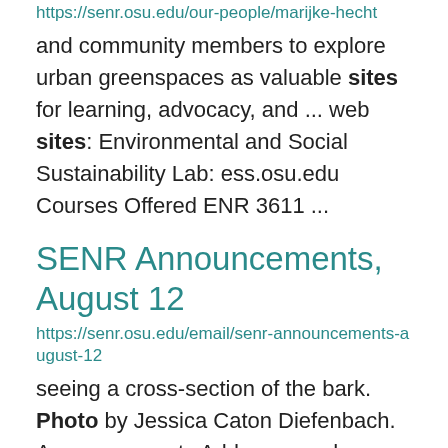https://senr.osu.edu/our-people/marijke-hecht
and community members to explore urban greenspaces as valuable sites for learning, advocacy, and ... web sites: Environmental and Social Sustainability Lab: ess.osu.edu Courses Offered ENR 3611 ...
SENR Announcements, August 12
https://senr.osu.edu/email/senr-announcements-august-12
seeing a cross-section of the bark. Photo by Jessica Caton Diefenbach. Announcements Add paragraph: ... Community Resilience amid End of Coal in Ohio | Details August 30: Wild Turkey